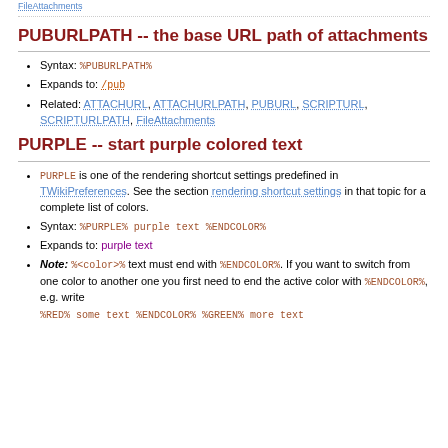FileAttachments
PUBURLPATH -- the base URL path of attachments
Syntax: %PUBURLPATH%
Expands to: /pub
Related: ATTACHURL, ATTACHURLPATH, PUBURL, SCRIPTURL, SCRIPTURLPATH, FileAttachments
PURPLE -- start purple colored text
PURPLE is one of the rendering shortcut settings predefined in TWikiPreferences. See the section rendering shortcut settings in that topic for a complete list of colors.
Syntax: %PURPLE% purple text %ENDCOLOR%
Expands to: purple text
Note: %<color>% text must end with %ENDCOLOR%. If you want to switch from one color to another one you first need to end the active color with %ENDCOLOR%, e.g. write %RED% some text %ENDCOLOR% %GREEN% more text